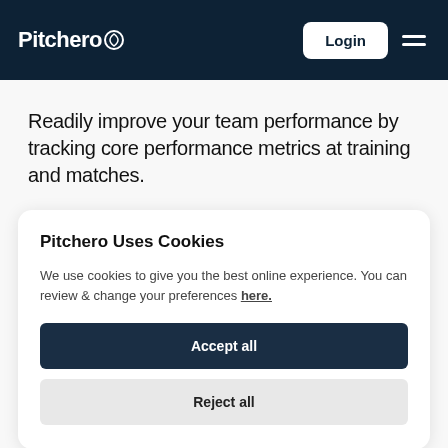Pitchero — Login
Readily improve your team performance by tracking core performance metrics at training and matches.
Pitchero Uses Cookies
We use cookies to give you the best online experience. You can review & change your preferences here.
Accept all
Reject all